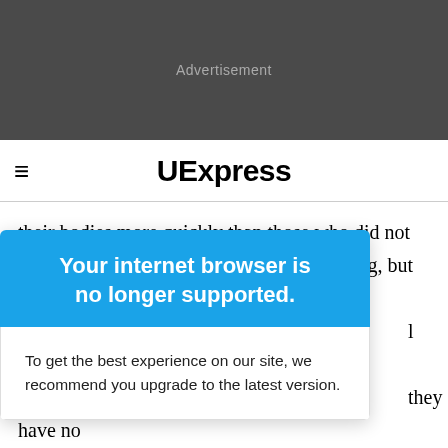[Figure (other): Dark gray advertisement banner placeholder with 'Advertisement' text]
≡  UExpress
their bodies more quickly than those who did not receive the treatment. This sounds promising, but it's
l limits
they have no
referring to is
much closer to a wide release. It uses a pinprick of
[Figure (screenshot): Browser upgrade modal dialog with blue header reading 'Your internet browser is no longer supported.' and white body text 'To get the best experience on our site, we recommend you upgrade to the latest version.']